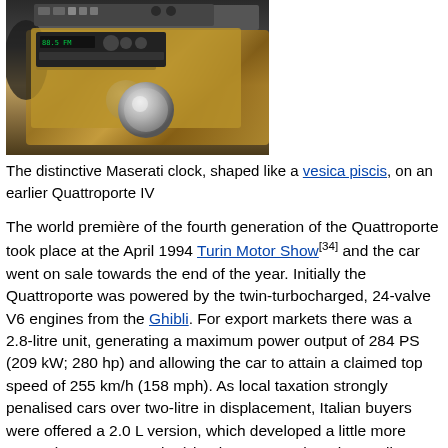[Figure (photo): Photo of Maserati car interior dashboard showing wooden trim, radio/stereo unit, buttons, and a distinctive round clock or gear shift knob]
The distinctive Maserati clock, shaped like a vesica piscis, on an earlier Quattroporte IV
The world première of the fourth generation of the Quattroporte took place at the April 1994 Turin Motor Show[34] and the car went on sale towards the end of the year. Initially the Quattroporte was powered by the twin-turbocharged, 24-valve V6 engines from the Ghibli. For export markets there was a 2.8-litre unit, generating a maximum power output of 284 PS (209 kW; 280 hp) and allowing the car to attain a claimed top speed of 255 km/h (158 mph). As local taxation strongly penalised cars over two-litre in displacement, Italian buyers were offered a 2.0 L version, which developed a little more power (287 PS or 211 kW) but less torque than the 2.8-litre version; on the home market, the 2.8 was not offered until a year after its introduction.[35] The cabin was fully upholstered in Connolly leather and trimmed in elm burl wood veneer. Weight was also reduced by at least 300 kg (661 lb) as compared to the Quattroporte III primarily due to the compact Biturbo underpinnings and by the use of a compact powerplant.[36]
After having been displayed in December 1995 at the Bologna